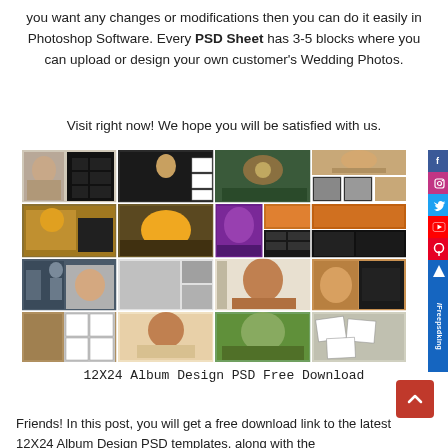you want any changes or modifications then you can do it easily in Photoshop Software. Every PSD Sheet has 3-5 blocks where you can upload or design your own customer's Wedding Photos.
Visit right now! We hope you will be satisfied with us.
[Figure (photo): Grid of 12x24 Album Design PSD template previews showing various wedding photo album layouts with decorative frames and photo placeholders, with social media sidebar icons on the right]
12X24 Album Design PSD Free Download
Friends! In this post, you will get a free download link to the latest 12X24 Album Design PSD templates, along with the